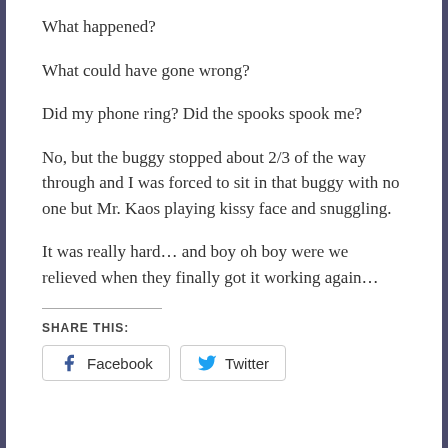What happened?
What could have gone wrong?
Did my phone ring? Did the spooks spook me?
No, but the buggy stopped about 2/3 of the way through and I was forced to sit in that buggy with no one but Mr. Kaos playing kissy face and snuggling.
It was really hard… and boy oh boy were we relieved when they finally got it working again…
SHARE THIS:
Facebook   Twitter